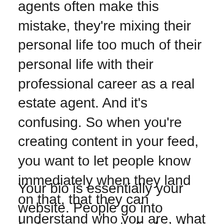agents often make this mistake, they're mixing their personal life too much of their personal life with their professional career as a real estate agent. And it's confusing. So when you're creating content in your feed, you want to let people know immediately when they land on that, that they can understand who you are, what you do, why you do it, and how long you've been doing it. And with that comes putting all of that information in your bio.
Your bio is essentially your website. People go into Instagram more to find and search different product services